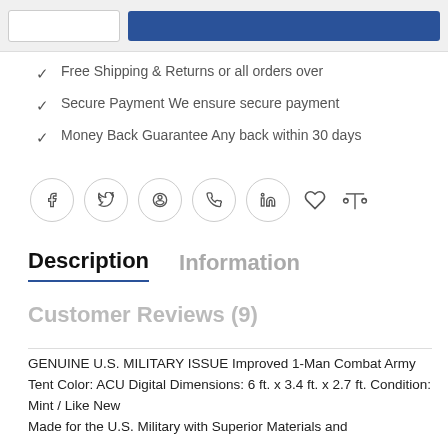[Figure (screenshot): Top bar with quantity input box and blue add-to-cart button]
Free Shipping & Returns or all orders over
Secure Payment We ensure secure payment
Money Back Guarantee Any back within 30 days
[Figure (infographic): Social sharing icons row: Facebook, Twitter, Pinterest, WhatsApp, LinkedIn circles, heart icon, scales/compare icon]
Description
Information
Customer Reviews (9)
GENUINE U.S. MILITARY ISSUE Improved 1-Man Combat Army Tent Color: ACU Digital Dimensions: 6 ft. x 3.4 ft. x 2.7 ft. Condition: Mint / Like New
Made for the U.S. Military with Superior Materials and